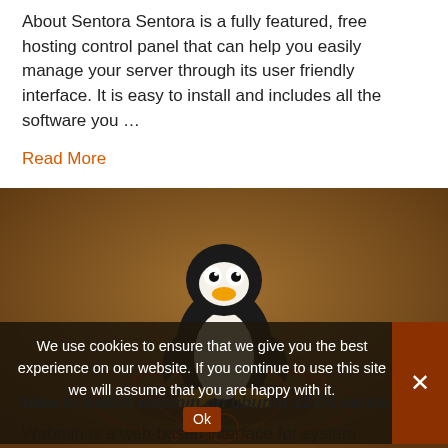About Sentora Sentora is a fully featured, free hosting control panel that can help you easily manage your server through its user friendly interface. It is easy to install and includes all the software you …
Read More
[Figure (photo): Linux Tux penguin 3D illustration sitting on Ubuntu logo outline on a brown background, with 'ubuntu' text visible at the bottom of the image.]
We use cookies to ensure that we give you the best experience on our website. If you continue to use this site we will assume that you are happy with it.
How to install webmin on ubuntu 12.04 server
Webmin is a web-based interface for system administration for Unix. Using any modern web browser, you can setup user